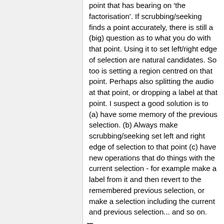point that has bearing on 'the factorisation'. If scrubbing/seeking finds a point accurately, there is still a (big) question as to what you do with that point. Using it to set left/right edge of selection are natural candidates. So too is setting a region centred on that point. Perhaps also splitting the audio at that point, or dropping a label at that point. I suspect a good solution is to (a) have some memory of the previous selection. (b) Always make scrubbing/seeking set left and right edge of selection to that point (c) have new operations that do things with the current selection - for example make a label from it and then revert to the remembered previous selection, or make a selection including the current and previous selection... and so on.
Gale 18Aug16: Oops, in my 17Aug16 comment above, I should have said that SHIFT + A